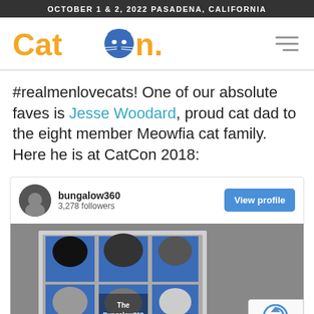OCTOBER 1 & 2, 2022 PASADENA, CALIFORNIA
[Figure (logo): CatCon logo with orange text and blue cat face icon, plus hamburger menu icon on the right]
#realmenlovecats! One of our absolute faves is Jesse Woodard, proud cat dad to the eight member Meowfia cat family. Here he is at CatCon 2018:
[Figure (screenshot): Instagram embed card for user bungalow360 (3,278 followers) with a View profile button, and a photo showing a display wall at CatCon with cat photos labeled 'The Bungalow360 Bunch'. A reCAPTCHA badge with Privacy - Terms text is visible in the bottom right.]